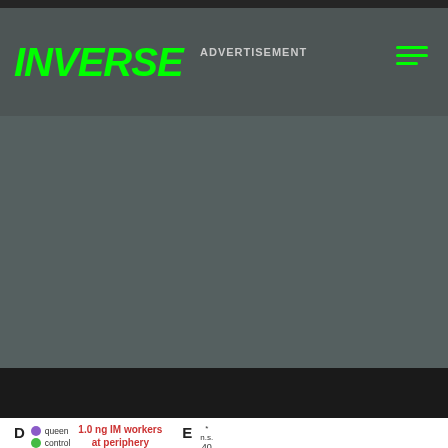INVERSE — ADVERTISEMENT
[Figure (other): Advertisement placeholder area (grey background, no image content visible)]
[Figure (other): Scientific figure panels D and E showing experimental data. Panel D: 1.0 ng IM workers at periphery chart with queen (purple) and control (green) legend, showing triangle/arrow chart shape. Panel E: Statistical significance chart showing y-axis value of 40, with n.s. (not significant) label and asterisk (*) indicating statistical comparison bracket.]